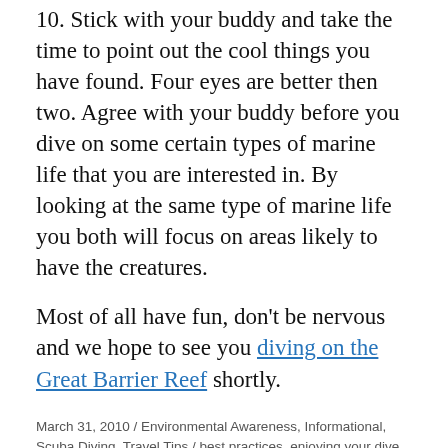10. Stick with your buddy and take the time to point out the cool things you have found. Four eyes are better then two. Agree with your buddy before you dive on some certain types of marine life that you are interested in. By looking at the same type of marine life you both will focus on areas likely to have the creatures.
Most of all have fun, don't be nervous and we hope to see you diving on the Great Barrier Reef shortly.
March 31, 2010 / Environmental Awareness, Informational, Scuba Diving, Travel Tips / best practices, enjoying your dive, Scuba Diving / Leave a comment